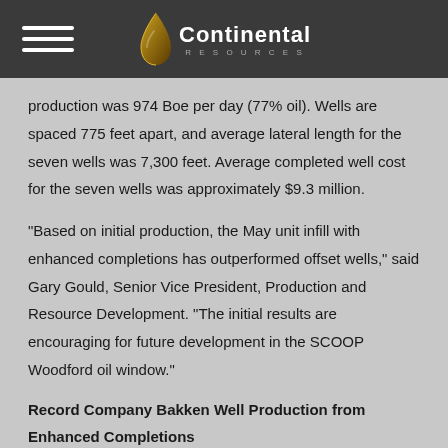Continental Resources
production was 974 Boe per day (77% oil). Wells are spaced 775 feet apart, and average lateral length for the seven wells was 7,300 feet. Average completed well cost for the seven wells was approximately $9.3 million.
"Based on initial production, the May unit infill with enhanced completions has outperformed offset wells," said Gary Gould, Senior Vice President, Production and Resource Development. "The initial results are encouraging for future development in the SCOOP Woodford oil window."
Record Company Bakken Well Production from Enhanced Completions
Continental's Bakken production averaged 107,929 Boe per day in